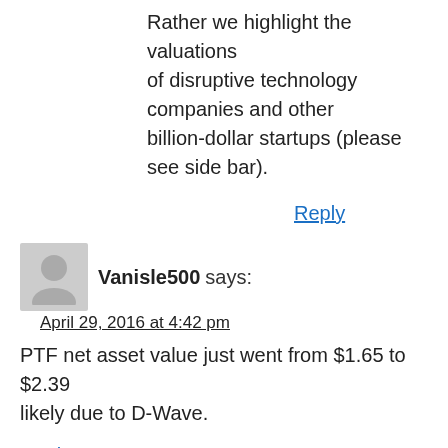Rather we highlight the valuations of disruptive technology companies and other billion-dollar startups (please see side bar).
Reply
Vanisle500 says:
April 29, 2016 at 4:42 pm
PTF net asset value just went from $1.65 to $2.39 likely due to D-Wave.
Reply
Peter says:
May 3, 2016 at 11:07 am
QHR, their largest public holding, has also gone up strongly in the last month or so. Could be hidden value in other private co